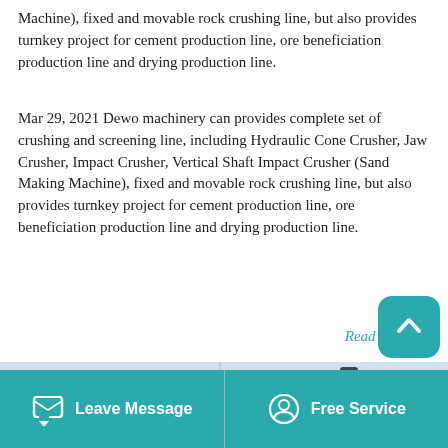Machine), fixed and movable rock crushing line, but also provides turnkey project for cement production line, ore beneficiation production line and drying production line.
Mar 29, 2021 Dewo machinery can provides complete set of crushing and screening line, including Hydraulic Cone Crusher, Jaw Crusher, Impact Crusher, Vertical Shaft Impact Crusher (Sand Making Machine), fixed and movable rock crushing line, but also provides turnkey project for cement production line, ore beneficiation production line and drying production line.
Read More →
[Figure (photo): Bottom strip showing a company logo (ZHONG XIN with red triangle/diamond mark) on left and an industrial machine image on right, with light blue-grey sky background.]
Leave Message    Free Service